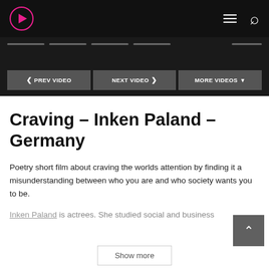Navigation bar with logo, hamburger menu, and search icon
[Figure (screenshot): Video player navigation area with dark background, progress dots, and Prev/Next/More Videos buttons]
Craving – Inken Paland – Germany
Poetry short film about craving the worlds attention by finding it a misunderstanding between who you are and who society wants you to be.
Inken Paland is actrees. She studied social and business